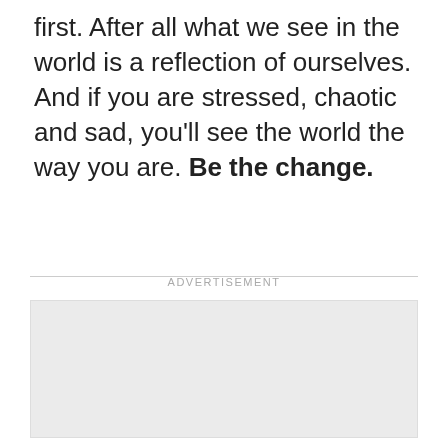first. After all what we see in the world is a reflection of ourselves. And if you are stressed, chaotic and sad, you'll see the world the way you are. Be the change.
[Figure (other): Advertisement placeholder box with light gray background and 'ADVERTISEMENT' label above it]